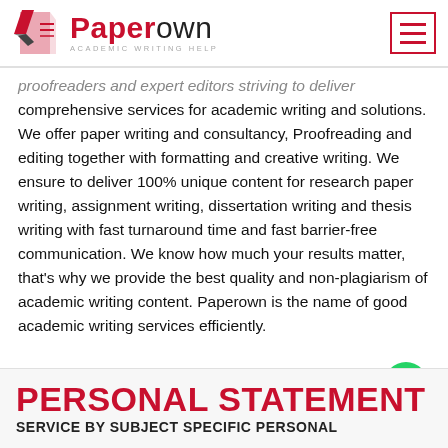Paperown - Academic Writing Help
proofreaders and expert editors striving to deliver comprehensive services for academic writing and solutions. We offer paper writing and consultancy, Proofreading and editing together with formatting and creative writing. We ensure to deliver 100% unique content for research paper writing, assignment writing, dissertation writing and thesis writing with fast turnaround time and fast barrier-free communication. We know how much your results matter, that's why we provide the best quality and non-plagiarism of academic writing content. Paperown is the name of good academic writing services efficiently.
[Figure (logo): WhatsApp chat button icon - green circle with phone handset]
PERSONAL STATEMENT
SERVICE BY SUBJECT SPECIFIC PERSONAL